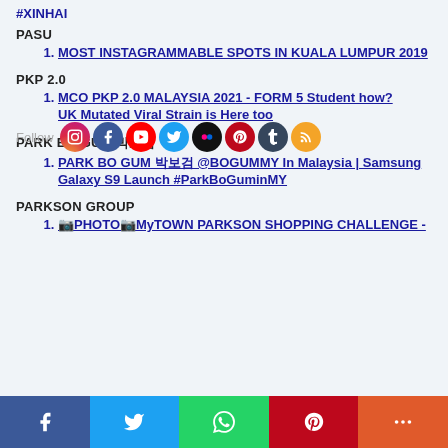#XINHAI
PASU
MOST INSTAGRAMMABLE SPOTS IN KUALA LUMPUR 2019
PKP 2.0
MCO PKP 2.0 MALAYSIA 2021 - FORM 5 Student how? UK Mutated Viral Strain is Here too
PARK BO GUM 박보검
PARK BO GUM 박보검 @BOGUMMY In Malaysia | Samsung Galaxy S9 Launch #ParkBoGuminMY
PARKSON GROUP
📷PHOTO📷MyTOWN PARKSON SHOPPING CHALLENGE -